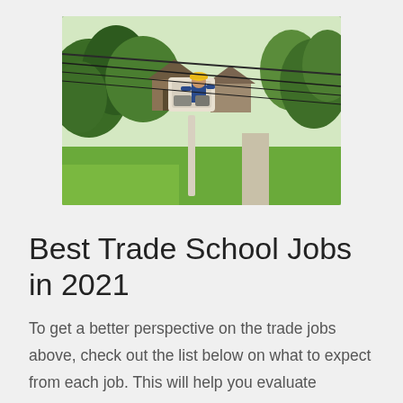[Figure (photo): Aerial view of a utility worker in a bucket lift/cherry picker working on power lines above a residential neighborhood with green trees, lawns, and houses. The worker wears a yellow hard hat and blue shirt.]
Best Trade School Jobs in 2021
To get a better perspective on the trade jobs above, check out the list below on what to expect from each job. This will help you evaluate whether you need more training